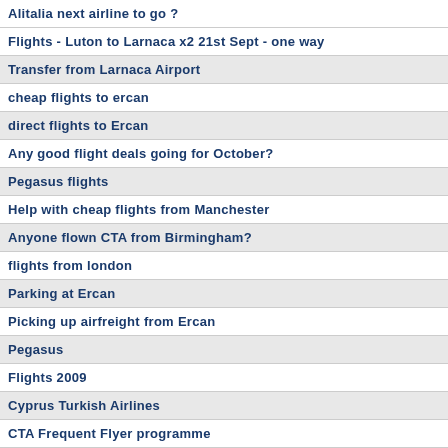Alitalia next airline to go ?
Flights - Luton to Larnaca x2 21st Sept - one way
Transfer from Larnaca Airport
cheap flights to ercan
direct flights to Ercan
Any good flight deals going for October?
Pegasus flights
Help with cheap flights from Manchester
Anyone flown CTA from Birmingham?
flights from london
Parking at Ercan
Picking up airfreight from Ercan
Pegasus
Flights 2009
Cyprus Turkish Airlines
CTA Frequent Flyer programme
flight November
Pegasus Flight offers
airport transfer